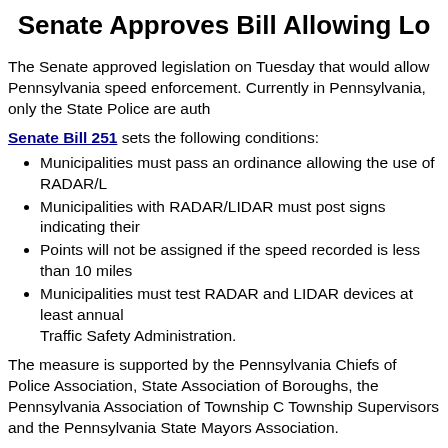Senate Approves Bill Allowing Lo
The Senate approved legislation on Tuesday that would allow Pennsylvania speed enforcement. Currently in Pennsylvania, only the State Police are auth
Senate Bill 251 sets the following conditions:
Municipalities must pass an ordinance allowing the use of RADAR/L
Municipalities with RADAR/LIDAR must post signs indicating their
Points will not be assigned if the speed recorded is less than 10 miles
Municipalities must test RADAR and LIDAR devices at least annual Traffic Safety Administration.
The measure is supported by the Pennsylvania Chiefs of Police Association, State Association of Boroughs, the Pennsylvania Association of Township C Township Supervisors and the Pennsylvania State Mayors Association.
Several other bills were also approved by the Senate this week and sent to th
Senate Bill 113 would allow family members to have access and visitation and under court-appointed guardianship.
Senate Bill 540 allows students who are performing at events and funerals allows that time to be counted toward volunteering or community service re
Senate Bill 629 updates the Uniform Fraudulent Transfers Act.